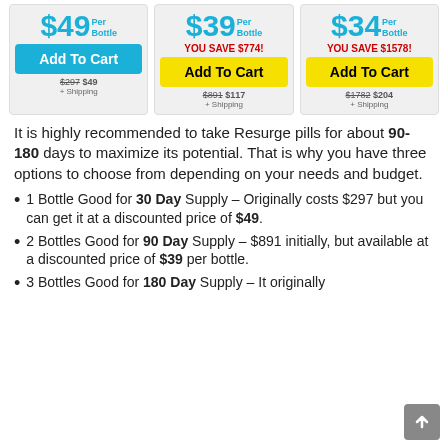[Figure (infographic): Three product pricing cards side by side. Left: $49 Per Bottle, blue Add To Cart button, $297 $49 + Shipping. Middle: $39 Per Bottle, YOU SAVE $774!, yellow Add To Cart button, $891 $117 + Shipping. Right: $34 Per Bottle, YOU SAVE $1578!, yellow Add To Cart button, $1782 $204 + Shipping.]
It is highly recommended to take Resurge pills for about 90-180 days to maximize its potential. That is why you have three options to choose from depending on your needs and budget.
1 Bottle Good for 30 Day Supply – Originally costs $297 but you can get it at a discounted price of $49.
2 Bottles Good for 90 Day Supply – $891 initially, but available at a discounted price of $39 per bottle.
3 Bottles Good for 180 Day Supply – It originally retails for $1782 but you can get it for $34 per bottle.